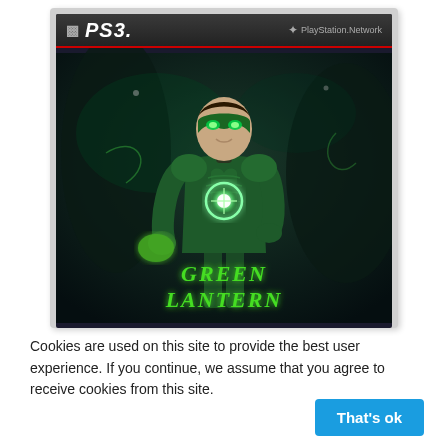[Figure (screenshot): PS3 game case cover for 'Green Lantern' showing a superhero character in a green costume with glowing chest emblem, PS3 and PlayStation Network logos at top, game title at bottom]
Cookies are used on this site to provide the best user experience. If you continue, we assume that you agree to receive cookies from this site.
That's ok